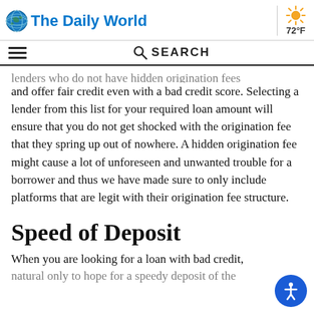The Daily World | 72°F
lenders who do not have hidden origination fees and offer fair credit even with a bad credit score. Selecting a lender from this list for your required loan amount will ensure that you do not get shocked with the origination fee that they spring up out of nowhere. A hidden origination fee might cause a lot of unforeseen and unwanted trouble for a borrower and thus we have made sure to only include platforms that are legit with their origination fee structure.
Speed of Deposit
When you are looking for a loan with bad credit, as natural only to hope for a speedy deposit of the